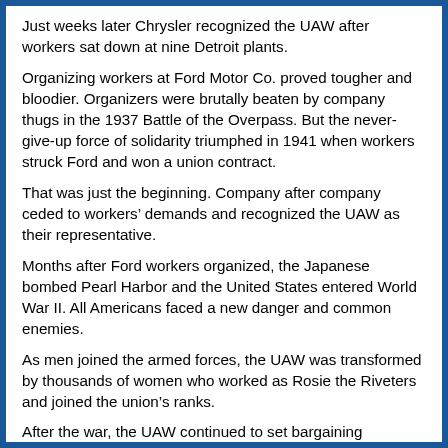Just weeks later Chrysler recognized the UAW after workers sat down at nine Detroit plants.
Organizing workers at Ford Motor Co. proved tougher and bloodier. Organizers were brutally beaten by company thugs in the 1937 Battle of the Overpass. But the never-give-up force of solidarity triumphed in 1941 when workers struck Ford and won a union contract.
That was just the beginning. Company after company ceded to workers’ demands and recognized the UAW as their representative.
Months after Ford workers organized, the Japanese bombed Pearl Harbor and the United States entered World War II. All Americans faced a new danger and common enemies.
As men joined the armed forces, the UAW was transformed by thousands of women who worked as Rosie the Riveters and joined the union’s ranks.
After the war, the UAW continued to set bargaining standards for all workers. We were the first to negotiate health insurance for workers and their families, paid vacation time, cost-of-living increases, company-funded pensions, Supplemental Unemployment Benefits, 30-and-out retirement, a paid Election Day holiday and many